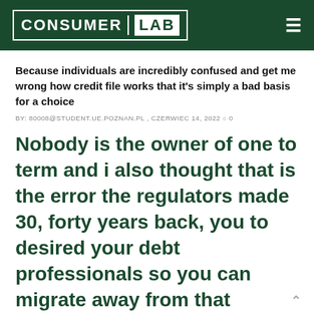CONSUMER LAB
Because individuals are incredibly confused and get me wrong how credit file works that it’s simply a bad basis for a choice
BY: 80008@STUDENT.UE.POZNAN.PL , CZERWIEC 14, 2022 ○ 0
Nobody is the owner of one to term and i also thought that is the error the regulators made 30, forty years back, you to desired your debt professionals so you can migrate away from that identity, debt’s crappy, so you can borrowing counselling musical good